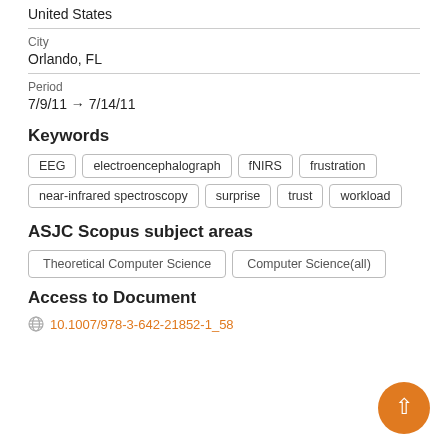United States
City
Orlando, FL
Period
7/9/11 → 7/14/11
Keywords
EEG
electroencephalograph
fNIRS
frustration
near-infrared spectroscopy
surprise
trust
workload
ASJC Scopus subject areas
Theoretical Computer Science
Computer Science(all)
Access to Document
10.1007/978-3-642-21852-1_58